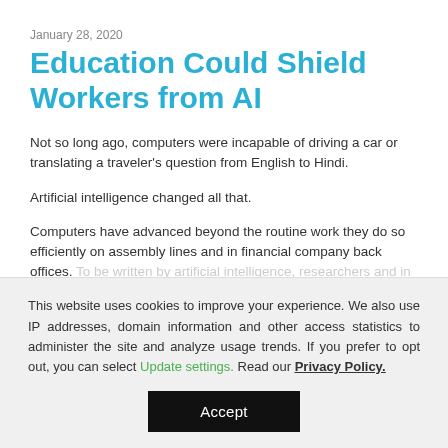January 28, 2020
Education Could Shield Workers from AI
Not so long ago, computers were incapable of driving a car or translating a traveler's question from English to Hindi.
Artificial intelligence changed all that.
Computers have advanced beyond the routine work they do so efficiently on assembly lines and in financial company back offices.
This website uses cookies to improve your experience. We also use IP addresses, domain information and other access statistics to administer the site and analyze usage trends. If you prefer to opt out, you can select Update settings. Read our Privacy Policy.
Accept